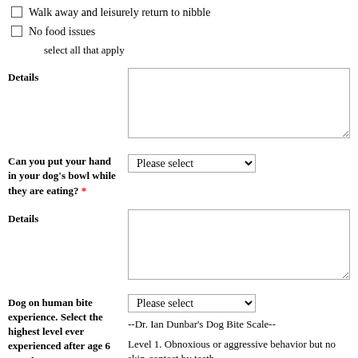Walk away and leisurely return to nibble
No food issues
select all that apply
Details
Can you put your hand in your dog's bowl while they are eating? *
Details
Dog on human bite experience. Select the highest level ever experienced after age 6 months. *
--Dr. Ian Dunbar's Dog Bite Scale--
Level 1. Obnoxious or aggressive behavior but no skin-contact by teeth.
Level 2. Skin-contact by teeth but no skin-puncture. However, may be skin nicks (less than one tenth of an inch deep) and slight bleeding caused by forward or lateral movement of teeth.